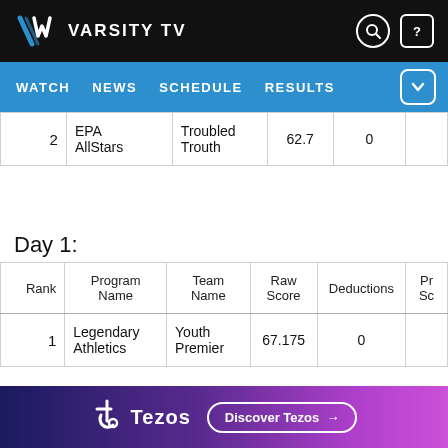[Figure (screenshot): Varsity TV logo - stylized W icon in blue and white with text VARSITY TV]
WATCH  NEWS  SCHEDULE  RESULTS
| Rank | Program Name | Team Name | Raw Score | Deductions | Pr Sc |
| --- | --- | --- | --- | --- | --- |
| 2 | EPA AllStars | Troubled Trouth | 62.7 | 0 |  |
Day 1:
| Rank | Program Name | Team Name | Raw Score | Deductions | Pr Sc |
| --- | --- | --- | --- | --- | --- |
| 1 | Legendary Athletics | Youth Premier | 67.175 | 0 |  |
[Figure (other): Tezos advertisement banner with logo and Discover Tezos button]